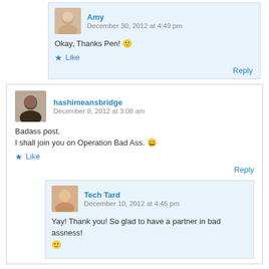Amy says: December 30, 2012 at 4:49 pm
Okay, Thanks Pen! 🙂
Like
Reply
hashimeansbridge says: December 8, 2012 at 3:08 am
Badass post.
I shall join you on Operation Bad Ass. 😀
Like
Reply
Tech Tard says: December 10, 2012 at 4:46 pm
Yay! Thank you! So glad to have a partner in bad assness! 🙂